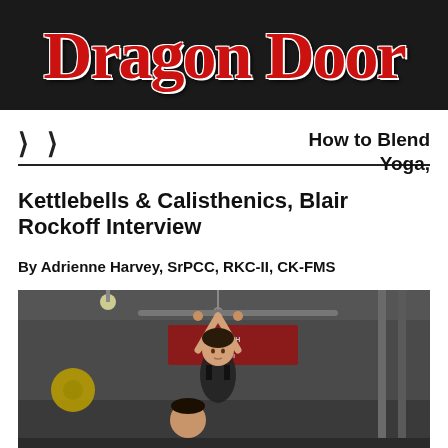[Figure (logo): Dragon Door logo in large red serif bold text on a dark/black textured background]
How to Blend Yoga, Kettlebells & Calisthenics, Blair Rockoff Interview
By Adrienne Harvey, SrPCC, RKC-II, CK-FMS
[Figure (photo): A woman performing a pull-up or hanging from a bar in a gym setting, with a man visible below/behind her. Gym equipment and signage visible in background.]